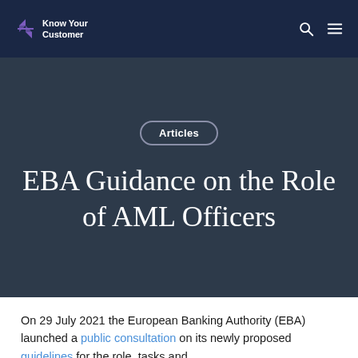Know Your Customer
Articles
EBA Guidance on the Role of AML Officers
On 29 July 2021 the European Banking Authority (EBA) launched a public consultation on its newly proposed guidelines for the role, tasks and